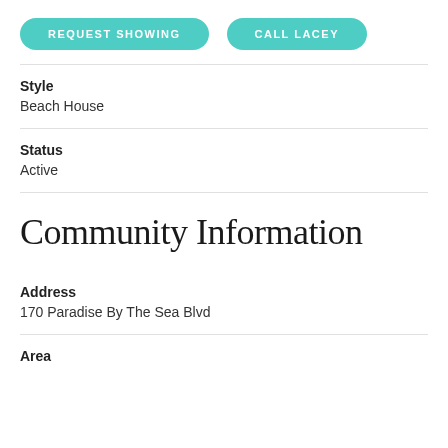[Figure (other): Two teal rounded-rectangle buttons: REQUEST SHOWING and CALL LACEY]
Style
Beach House
Status
Active
Community Information
Address
170 Paradise By The Sea Blvd
Area